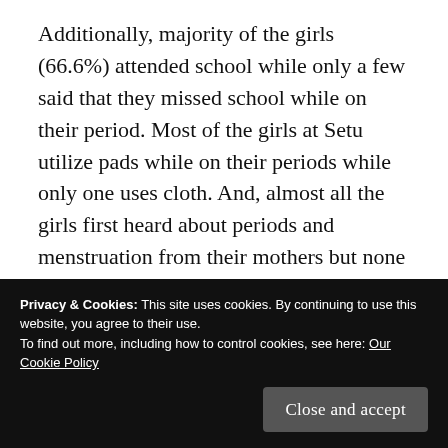Additionally, majority of the girls (66.6%) attended school while only a few said that they missed school while on their period. Most of the girls at Setu utilize pads while on their periods while only one uses cloth. And, almost all the girls first heard about periods and menstruation from their mothers but none of them spoke only to their fathers about it. However, two girls said that they were introduced to it by both their parents together.
Privacy & Cookies: This site uses cookies. By continuing to use this website, you agree to their use.
To find out more, including how to control cookies, see here: Our Cookie Policy
Close and accept